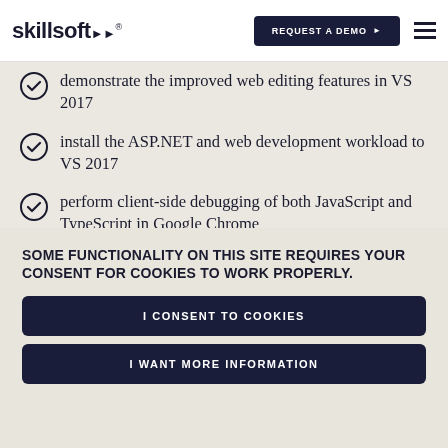skillsoft® | REQUEST A DEMO
demonstrate the improved web editing features in VS 2017
install the ASP.NET and web development workload to VS 2017
perform client-side debugging of both JavaScript and TypeScript in Google Chrome
SOME FUNCTIONALITY ON THIS SITE REQUIRES YOUR CONSENT FOR COOKIES TO WORK PROPERLY.
I CONSENT TO COOKIES
I WANT MORE INFORMATION